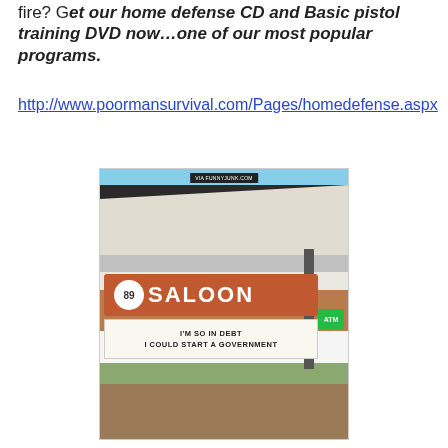fire? Get our home defense CD and Basic pistol training DVD now…one of our most popular programs.
http://www.poormansurvival.com/Pages/homedefense.aspx
[Figure (photo): Photo of a saloon exterior with a gas station canopy. A marquee sign reads 'I'M SO IN DEBT I COULD START A GOVERNMENT'. An ATM sign is visible on the right.]